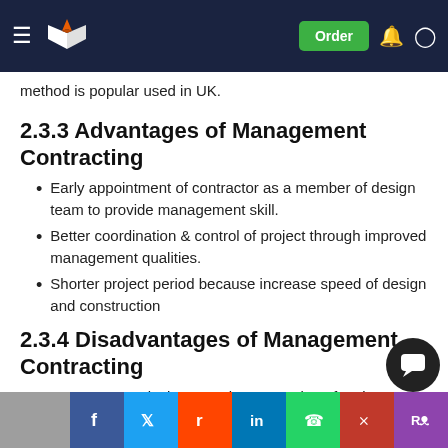Navigation bar with logo and Order button
method is popular used in UK.
2.3.3 Advantages of Management Contracting
Early appointment of contractor as a member of design team to provide management skill.
Better coordination & control of project through improved management qualities.
Shorter project period because increase speed of design and construction
2.3.4 Disadvantages of Management Contracting
Pressures on design team in preparation of various tender documents, etc.